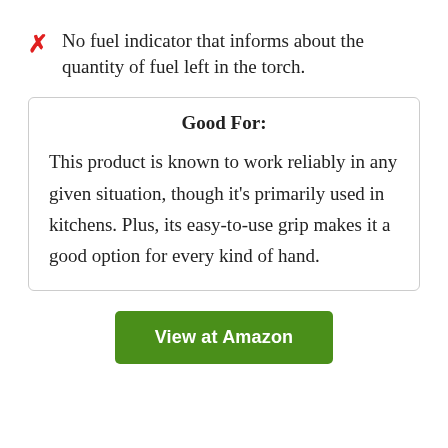No fuel indicator that informs about the quantity of fuel left in the torch.
Good For:
This product is known to work reliably in any given situation, though it's primarily used in kitchens. Plus, its easy-to-use grip makes it a good option for every kind of hand.
View at Amazon